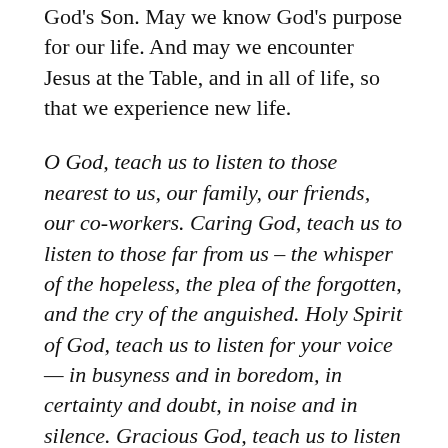God's Son. May we know God's purpose for our life. And may we encounter Jesus at the Table, and in all of life, so that we experience new life.
O God, teach us to listen to those nearest to us, our family, our friends, our co-workers. Caring God, teach us to listen to those far from us – the whisper of the hopeless, the plea of the forgotten, and the cry of the anguished. Holy Spirit of God, teach us to listen for your voice — in busyness and in boredom, in certainty and doubt, in noise and in silence. Gracious God, teach us to listen well to the message of your Table. May you change and transform us to be like Jesus. Teach